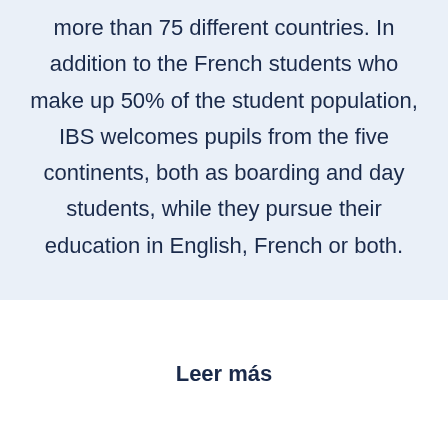more than 75 different countries. In addition to the French students who make up 50% of the student population, IBS welcomes pupils from the five continents, both as boarding and day students, while they pursue their education in English, French or both.
Leer más